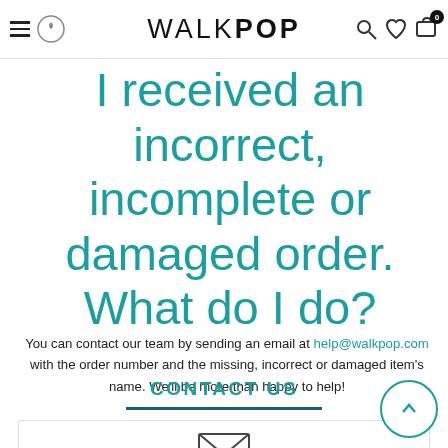WALKPOP navigation bar with hamburger menu, logo icon, WALKPOP wordmark, search, wishlist, and cart icons
I received an incorrect, incomplete or damaged order. What do I do?
You can contact our team by sending an email at help@walkpop.com with the order number and the missing, incorrect or damaged item's name. We'll be more than happy to help!
CONTACT US
[Figure (illustration): White form card area with envelope/email icon visible at the bottom of the page]